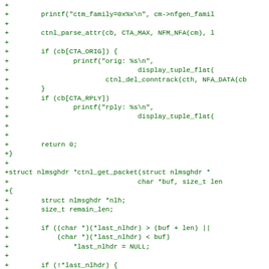diff --git showing C source code additions (green +) for netfilter conntrack functions: printf ctm_family, ctnl_parse_attr, CTA_ORIG/CTA_RPLY handling, return 0, ctnl_get_packet struct, nlmsghdr pointer operations, if last_nlhdr checks